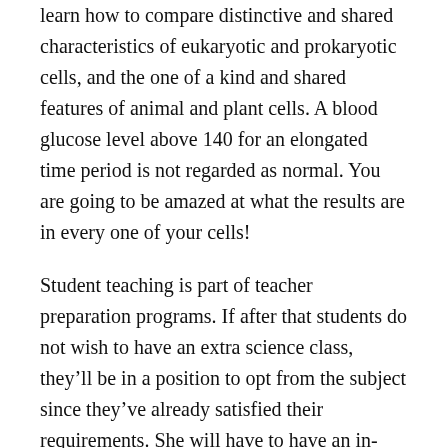learn how to compare distinctive and shared characteristics of eukaryotic and prokaryotic cells, and the one of a kind and shared features of animal and plant cells. A blood glucose level above 140 for an elongated time period is not regarded as normal. You are going to be amazed at what the results are in every one of your cells!
Student teaching is part of teacher preparation programs. If after that students do not wish to have an extra science class, they'll be in a position to opt from the subject since they've already satisfied their requirements. She will have to have an in-depth knowledge of the subject to be able to answer questions from students and teach content contained in school standards.
Biology 101 is an perfect course for college and pre-college students searching for a logical and simple to comprehend class in a self-paced learning atmosphere.